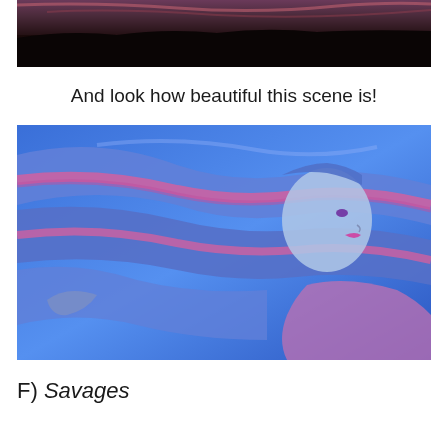[Figure (photo): Top portion of an image showing a dark landscape with purplish sky and black ground, partially cropped at top of page]
And look how beautiful this scene is!
[Figure (illustration): Animated illustration of a woman with long flowing blue and pink streaked hair against a vivid blue background, profile view, stylized animation art]
F) Savages